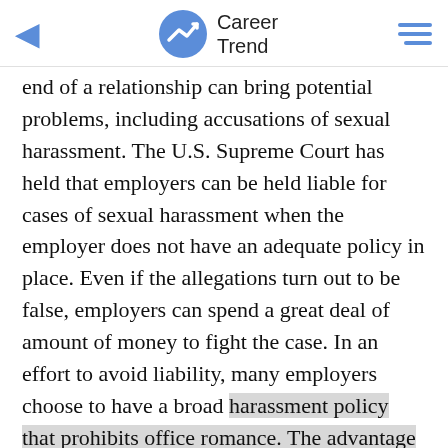Career Trend
end of a relationship can bring potential problems, including accusations of sexual harassment. The U.S. Supreme Court has held that employers can be held liable for cases of sexual harassment when the employer does not have an adequate policy in place. Even if the allegations turn out to be false, employers can spend a great deal of amount of money to fight the case. In an effort to avoid liability, many employers choose to have a broad harassment policy that prohibits office romance. The advantage of these policies is that the employer has some protection in its effort to prohibit